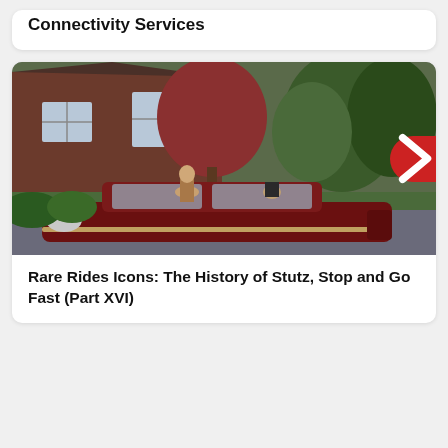Connectivity Services
[Figure (photo): Vintage dark red luxury car parked in front of a brick house with trees; a woman stands beside it and a man sits in the driver's seat. A red navigation arrow is visible on the right edge.]
Rare Rides Icons: The History of Stutz, Stop and Go Fast (Part XVI)